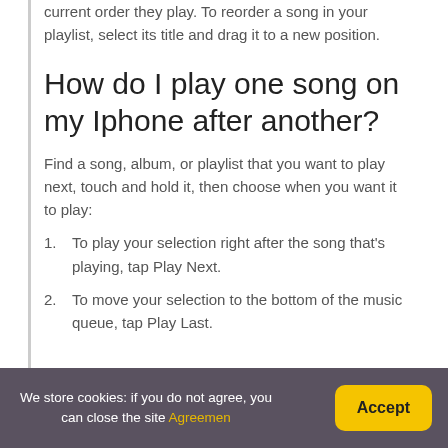current order they play. To reorder a song in your playlist, select its title and drag it to a new position.
How do I play one song on my Iphone after another?
Find a song, album, or playlist that you want to play next, touch and hold it, then choose when you want it to play:
1. To play your selection right after the song that's playing, tap Play Next.
2. To move your selection to the bottom of the music queue, tap Play Last.
We store cookies: if you do not agree, you can close the site Agreemen  Accept